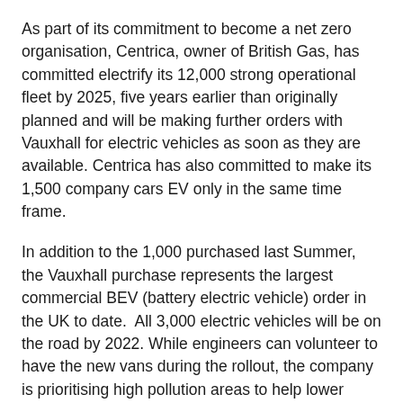As part of its commitment to become a net zero organisation, Centrica, owner of British Gas, has committed electrify its 12,000 strong operational fleet by 2025, five years earlier than originally planned and will be making further orders with Vauxhall for electric vehicles as soon as they are available. Centrica has also committed to make its 1,500 company cars EV only in the same time frame.
In addition to the 1,000 purchased last Summer, the Vauxhall purchase represents the largest commercial BEV (battery electric vehicle) order in the UK to date.  All 3,000 electric vehicles will be on the road by 2022. While engineers can volunteer to have the new vans during the rollout, the company is prioritising high pollution areas to help lower emissions.
British Gas engineers will install all chargers at engineer homes and is accelerating EV adoption in the UK for homes